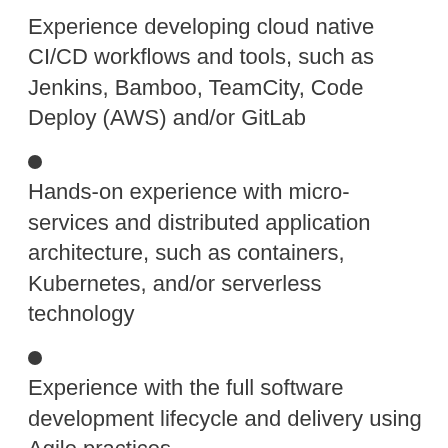Experience developing cloud native CI/CD workflows and tools, such as Jenkins, Bamboo, TeamCity, Code Deploy (AWS) and/or GitLab
Hands-on experience with micro-services and distributed application architecture, such as containers, Kubernetes, and/or serverless technology
Experience with the full software development lifecycle and delivery using Agile practices